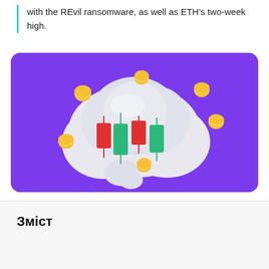with the REvil ransomware, as well as ETH's two-week high.
[Figure (illustration): 3D illustration on purple background showing a cloud shape with candlestick chart candles (red and green) and gold coins floating around it, representing cryptocurrency trading]
Зміст